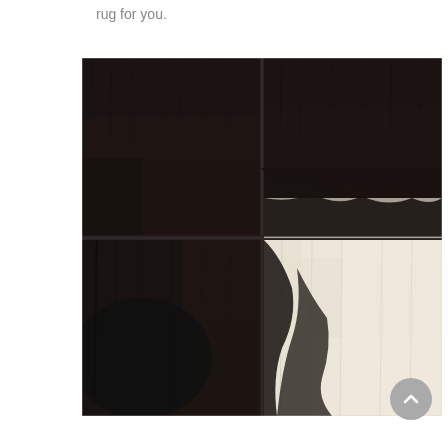rug for you.
[Figure (photo): A patchwork cowhide rug composed of multiple panels of black and white/cream cowhide stitched together. The rug shows a combination of dark black fur panels on the left and upper right, with cream/white fur panels on the lower right, creating a natural patchwork pattern with visible seam lines between panels.]